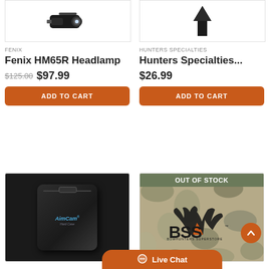[Figure (photo): Fenix HM65R Headlamp product photo on white background]
FENIX
Fenix HM65R Headlamp
$125.00  $97.99
ADD TO CART
[Figure (photo): Hunters Specialties product photo on white background]
HUNTERS SPECIALTIES
Hunters Specialties...
$26.99
ADD TO CART
[Figure (photo): AimCam hard case product photo on dark background]
[Figure (photo): BSS Bowhunters Superstore logo on camo background with OUT OF STOCK badge]
OUT OF STOCK
Live Chat